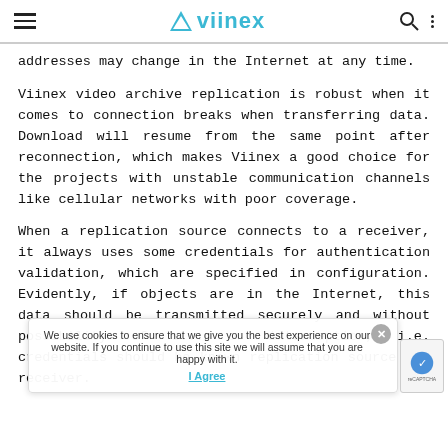viinex
addresses may change in the Internet at any time.
Viinex video archive replication is robust when it comes to connection breaks when transferring data. Download will resume from the same point after reconnection, which makes Viinex a good choice for the projects with unstable communication channels like cellular networks with poor coverage.
When a replication source connects to a receiver, it always uses some credentials for authentication validation, which are specified in configuration. Evidently, if objects are in the Internet, this data should be transmitted securely and without possibility of s... or interception, i.e. credentials should be known replication source and receiver.
We use cookies to ensure that we give you the best experience on our website. If you continue to use this site we will assume that you are happy with it.
I Agree